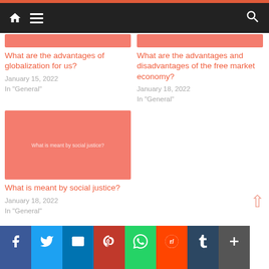Navigation bar with home, menu, and search icons
[Figure (illustration): Salmon/coral colored rectangular image placeholder for globalization article]
What are the advantages of globalization for us?
January 15, 2022
In "General"
[Figure (illustration): Salmon/coral colored rectangular image placeholder for free market economy article]
What are the advantages and disadvantages of the free market economy?
January 18, 2022
In "General"
[Figure (illustration): Salmon/coral colored rectangular image with text 'What is meant by social justice?' for social justice article]
What is meant by social justice?
January 18, 2022
In "General"
Social share buttons: Facebook, Twitter, Email, Pinterest, WhatsApp, Reddit, Tumblr, More